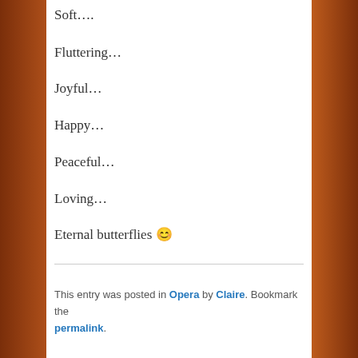Soft….
Fluttering…
Joyful…
Happy…
Peaceful…
Loving…
Eternal butterflies 😊
This entry was posted in Opera by Claire. Bookmark the permalink.
Proudly powered by WordPress